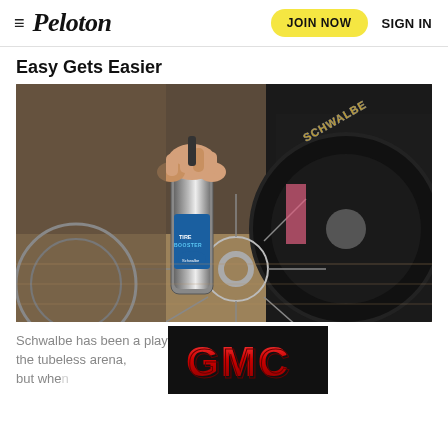≡ Peloton  JOIN NOW  SIGN IN
Easy Gets Easier
[Figure (photo): Person inflating a Schwalbe mountain bike tire using a Schwalbe Tire Booster canister. The large knobby tire and disc brake rotor are visible.]
[Figure (logo): GMC logo advertisement banner on black background with red 3D lettering]
Schwalbe has been a player in the tubeless arena, but whe... it was